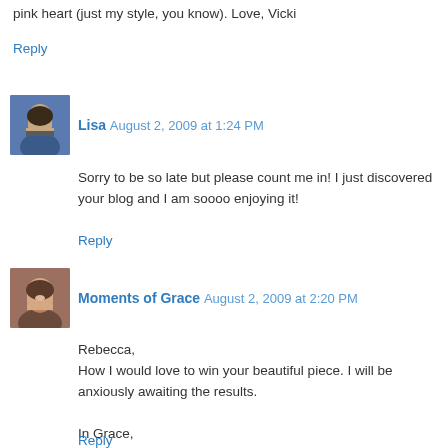pink heart (just my style, you know). Love, Vicki
Reply
Lisa  August 2, 2009 at 1:24 PM
Sorry to be so late but please count me in! I just discovered your blog and I am soooo enjoying it!
Reply
Moments of Grace  August 2, 2009 at 2:20 PM
Rebecca,
How I would love to win your beautiful piece. I will be anxiously awaiting the results.

In Grace,
Marie
Reply